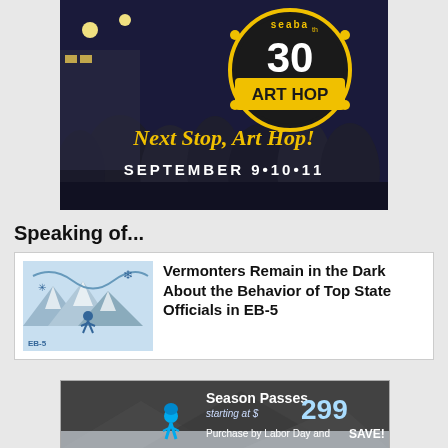[Figure (photo): Art Hop promotional banner with crowd photo, SEABA 30th Art Hop logo, text 'Next Stop, Art Hop!' and 'SEPTEMBER 9•10•11']
Speaking of...
[Figure (illustration): Illustration of a winter scene with a skier and mountains]
Vermonters Remain in the Dark About the Behavior of Top State Officials in EB-5
[Figure (photo): Ski resort advertisement: Season Passes starting at $299. Purchase by Labor Day and SAVE!]